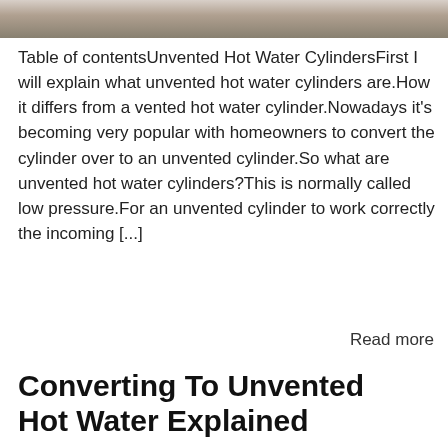[Figure (photo): Partial photo strip showing what appears to be an interior/plumbing scene, cropped at top]
Table of contentsUnvented Hot Water CylindersFirst I will explain what unvented hot water cylinders are.How it differs from a vented hot water cylinder.Nowadays it's becoming very popular with homeowners to convert the cylinder over to an unvented cylinder.So what are unvented hot water cylinders?This is normally called low pressure.For an unvented cylinder to work correctly the incoming [...]
Read more
Converting To Unvented Hot Water Explained
29 Dec 2018 | DuvalHeating Gas Safe LPG
Plumber LPG Plumber Near Me Suffolk